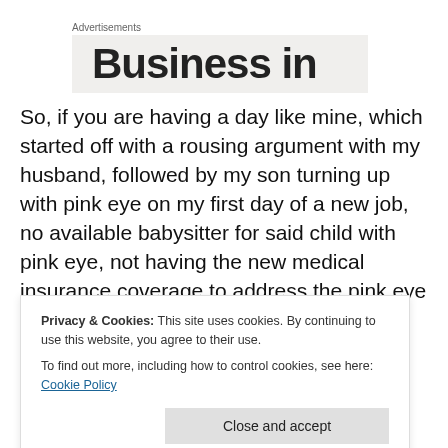Advertisements
[Figure (other): Advertisement banner showing partial text 'Business in' on a light grey background]
So, if you are having a day like mine, which started off with a rousing argument with my husband, followed by my son turning up with pink eye on my first day of a new job, no available babysitter for said child with pink eye, not having the new medical insurance coverage to address the pink eye kick in until March 1st, realizing suddenly that I didn't
Privacy & Cookies: This site uses cookies. By continuing to use this website, you agree to their use.
To find out more, including how to control cookies, see here: Cookie Policy
Close and accept
lining here somewhere, and I will find it. Sometimes it is as